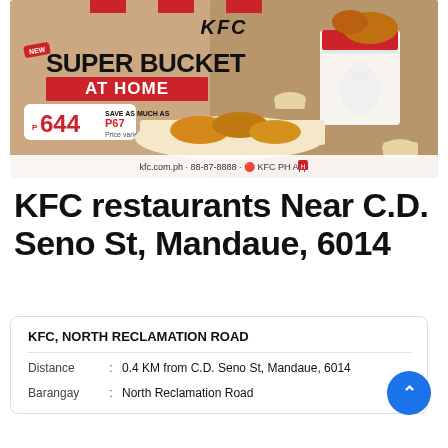[Figure (illustration): KFC Super Bucket At Home advertisement banner. Shows KFC logo, 'NEW SUPER BUCKET AT HOME' text, price P644, save as much as P67, kfc.com.ph · 88-87-8888 · KFC PH App, with image of KFC bucket and food.]
KFC restaurants Near C.D. Seno St, Mandaue, 6014
| KFC, NORTH RECLAMATION ROAD |
| Distance : | 0.4 KM from C.D. Seno St, Mandaue, 6014 |
| Barangay : | North Reclamation Road |